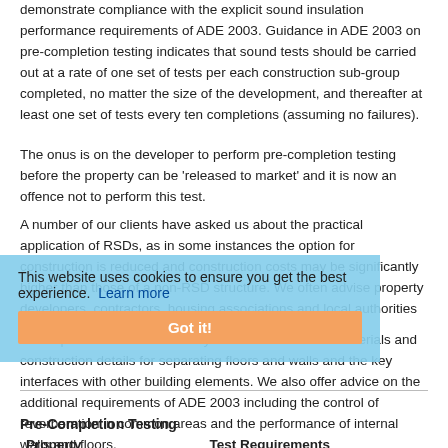demonstrate compliance with the explicit sound insulation performance requirements of ADE 2003. Guidance in ADE 2003 on pre-completion testing indicates that sound tests should be carried out at a rate of one set of tests per each construction sub-group completed, no matter the size of the development, and thereafter at least one set of tests every ten completions (assuming no failures).
The onus is on the developer to perform pre-completion testing before the property can be 'released to market' and it is now an offence not to perform this test.
A number of our clients have asked us about the practical application of RSDs, as in some instances the option for construction is reduced and construction costs may be significantly higher than those of a non-RSD structure. We often advise property developers, contractors, housing associations and local authorities in Westward Ho! on the implications of ADE 2003.
Our experts have advised many of our clients on the materials and construction details for separating floors and walls and the key interfaces with other building elements. We also offer advice on the additional requirements of ADE 2003 including the control of reverberation in common areas and the performance of internal walls and floors.
Pre-Completion Testing
The following table outlines the sets of tests that are required for new and converted properties.
| Property Types | Test Requirements |
| --- | --- |